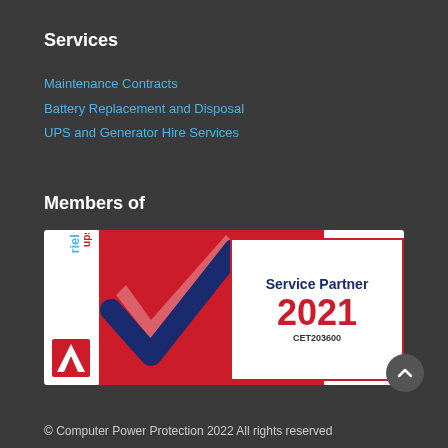Services
Maintenance Contracts
Battery Replacement and Disposal
UPS and Generator Hire Services
Members of
[Figure (logo): Riello UPS Service Partner 2021 badge with red background, dark blue checkmark, and certificate code CET203600]
© Computer Power Protection 2022 All rights reserved